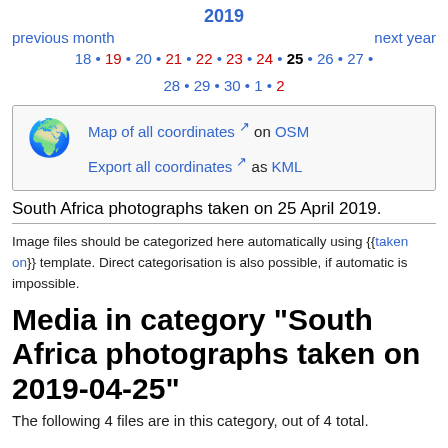2019
previous month   next year
18 • 19 • 20 • 21 • 22 • 23 • 24 • 25 • 26 • 27 •
28 • 29 • 30 • 1 • 2
[Figure (other): Globe emoji icon for coordinates box]
Map of all coordinates on OSM
Export all coordinates as KML
South Africa photographs taken on 25 April 2019.
Image files should be categorized here automatically using {{taken on}} template. Direct categorisation is also possible, if automatic is impossible.
Media in category "South Africa photographs taken on 2019-04-25"
The following 4 files are in this category, out of 4 total.